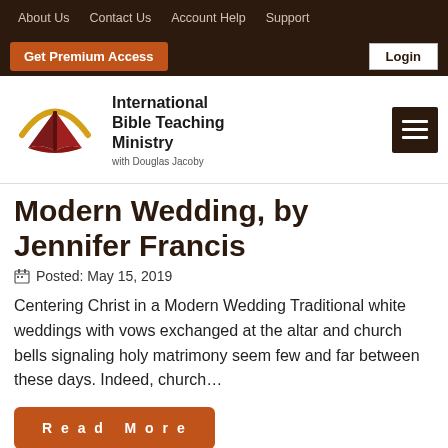About Us   Contact Us   Account Help   Support   Login
Get Premium Access   Login
[Figure (logo): International Bible Teaching Ministry logo with open book and golden arc]
Modern Wedding, by Jennifer Francis
Posted: May 15, 2019
Centering Christ in a Modern Wedding Traditional white weddings with vows exchanged at the altar and church bells signaling holy matrimony seem few and far between these days. Indeed, church...
Read More